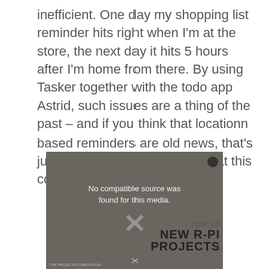inefficient. One day my shopping list reminder hits right when I'm at the store, the next day it hits 5 hours after I'm home from there. By using Tasker together with the todo app Astrid, such issues are a thing of the past – and if you think that locationn based reminders are old news, that's just the tip of the iceberg of what this combo can do.
[Figure (screenshot): Video thumbnail showing Raspberry Pi circuit boards with overlay text 'No compatible source was found for this media.' and title text 'TOP 10 NEW R-PI PROJECTS' with a TOP PROJECTS COMPILATION label]
10 NEW Raspberry Pi proje...